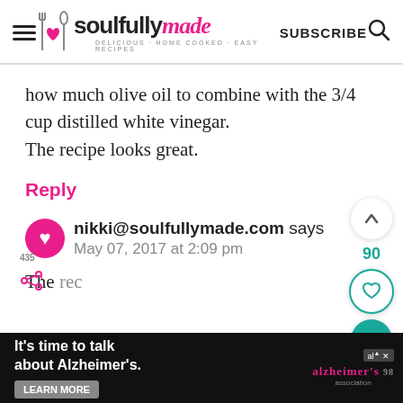[Figure (logo): Soulfully Made website header logo with hamburger menu, logo text 'soullfully made', SUBSCRIBE text and search icon]
how much olive oil to combine with the 3/4 cup distilled white vinegar. The recipe looks great.
Reply
nikki@soulfullymade.com says
May 07, 2017 at 2:09 pm
[Figure (infographic): It's time to talk about Alzheimer's. LEARN MORE button. Alzheimer's Association logo. Ad close button X.]